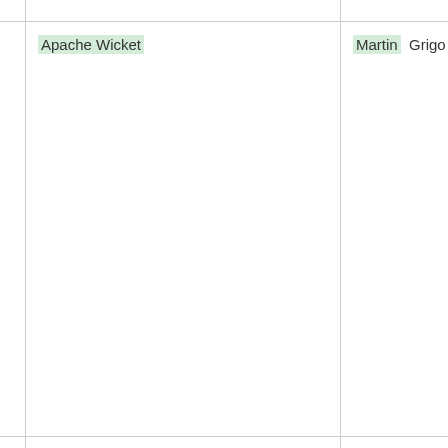| (Project) | (Name col 1) | (Name col 2) |
| --- | --- | --- |
|  |  |  |
| Apache Wicket | Martin | Grigo... |
| Apache Zookeeper | Enrico Olivelli |  |
| Apereo CAS | Misagh Moayy... |  |
| ApprovalTests.Java | Llewellyn Falco...
Lars Eckart |  |
| Arquillian | Aslak Knutser... |  |